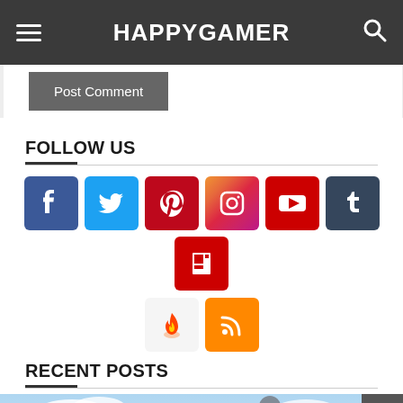HAPPYGAMER
Post Comment
FOLLOW US
[Figure (infographic): Row of social media icons: Facebook (blue), Twitter (light blue), Pinterest (red), Instagram (gradient pink/purple), YouTube (red), Tumblr (dark blue), Flipboard (red), and two more icons below: a flame/fire icon and an RSS feed icon (orange)]
RECENT POSTS
[Figure (photo): Screenshot or image from a video game showing armored soldiers/Spartans holding weapons against a sky background]